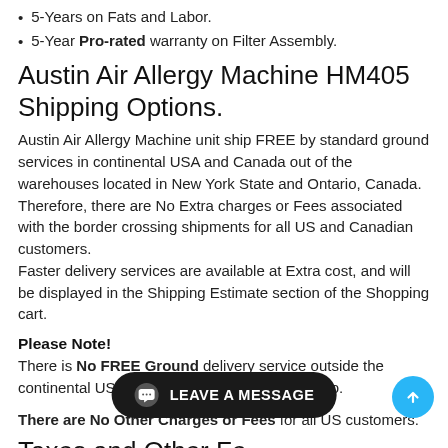5-Years on Fats and Labor.
5-Year Pro-rated warranty on Filter Assembly.
Austin Air Allergy Machine HM405 Shipping Options.
Austin Air Allergy Machine unit ship FREE by standard ground services in continental USA and Canada out of the warehouses located in New York State and Ontario, Canada. Therefore, there are No Extra charges or Fees associated with the border crossing shipments for all US and Canadian customers.
Faster delivery services are available at Extra cost, and will be displayed in the Shipping Estimate section of the Shopping cart.
Please Note!
There is No FREE Ground delivery service outside the continental USA - to Hawaii, Alaska, Puerto Rico.
There are No Other Charges or Fees for all US customers.
Taxes and Other Fe...